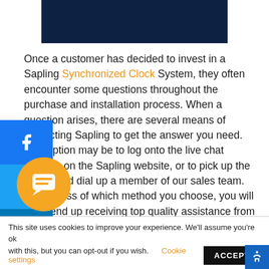[Figure (other): Dark navy blue header banner image]
Once a customer has decided to invest in a Sapling Synchronized Clock System, they often encounter some questions throughout the purchase and installation process. When a question arises, there are several means of contacting Sapling to get the answer you need. One option may be to log onto the live chat function on the Sapling website, or to pick up the phone and dial up a member of our sales team. Regardless of which method you choose, you will likely end up receiving top quality assistance from our National Account Manager, Natalie Andree. Whether she is providing part numbers, recommending a dealer, or referring a member of our tech department, Natalie can be heard throughout the day providing cheerful help to every single caller. However, you'd be
This site uses cookies to improve your experience. We'll assume you're ok with this, but you can opt-out if you wish. Cookie settings ACCEPT